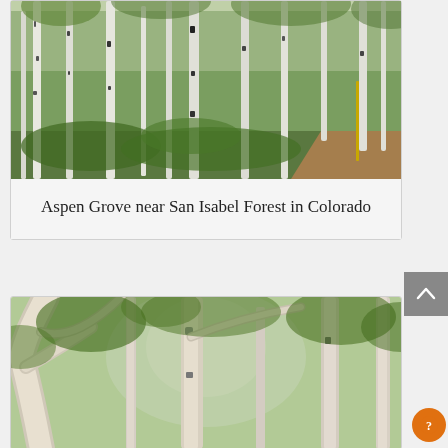[Figure (photo): Aspen grove with tall white-barked birch/aspen trees and lush green undergrowth, a dirt path visible on the right, near San Isabel Forest in Colorado]
Aspen Grove near San Isabel Forest in Colorado
[Figure (photo): Looking up through aspen/birch tree canopy, white bark trunks and green leaves visible against bright sky]